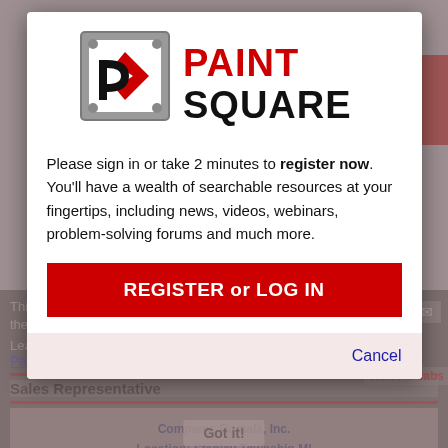[Figure (screenshot): Background website page showing PaintSquare classifieds, cookie notice, and sales representative listing, blurred/dimmed behind modal overlay]
[Figure (logo): PaintSquare logo with gray square frame icon containing a red diamond and black P shape, with PAINT SQUARE text in red and black]
Please sign in or take 2 minutes to register now. You'll have a wealth of searchable resources at your fingertips, including news, videos, webinars, problem-solving forums and much more.
REGISTER or LOG IN
Cancel